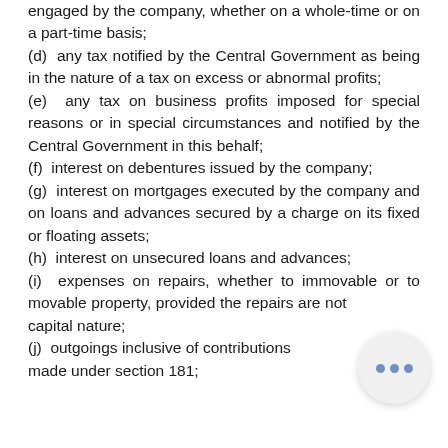engaged by the company, whether on a whole-time or on a part-time basis; (d) any tax notified by the Central Government as being in the nature of a tax on excess or abnormal profits; (e) any tax on business profits imposed for special reasons or in special circumstances and notified by the Central Government in this behalf; (f) interest on debentures issued by the company; (g) interest on mortgages executed by the company and on loans and advances secured by a charge on its fixed or floating assets; (h) interest on unsecured loans and advances; (i) expenses on repairs, whether to immovable or to movable property, provided the repairs are not capital nature; (j) outgoings inclusive of contributions made under section 181;